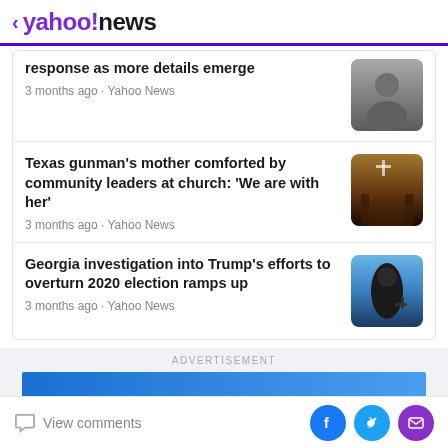< yahoo!news
response as more details emerge
3 months ago · Yahoo News
[Figure (photo): Small thumbnail photo of a person]
Texas gunman's mother comforted by community leaders at church: 'We are with her'
3 months ago · Yahoo News
[Figure (photo): Church interior with cross and pews]
Georgia investigation into Trump's efforts to overturn 2020 election ramps up
3 months ago · Yahoo News
[Figure (photo): Silhouette of a person at a microphone against a blue sky background]
ADVERTISEMENT
View comments